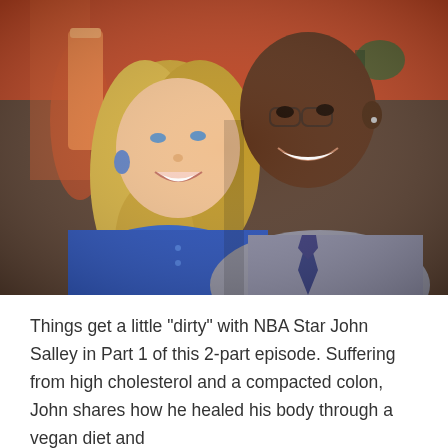[Figure (photo): A smiling blonde woman in a blue sweater stands next to a tall smiling Black man in a grey button-up shirt and dark tie, posing together indoors with a reddish-orange background.]
Things get a little "dirty" with NBA Star John Salley in Part 1 of this 2-part episode. Suffering from high cholesterol and a compacted colon, John shares how he healed his body through a vegan diet and